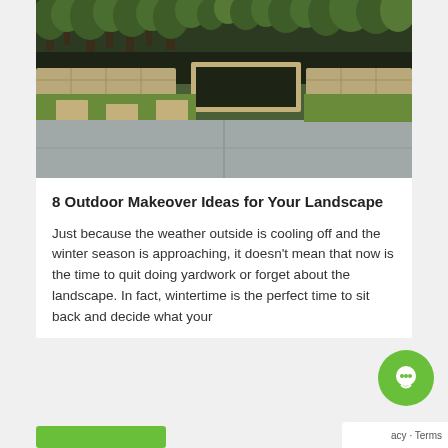[Figure (photo): Outdoor landscape photo showing a modern patio with concrete slabs, raised garden beds with stone edging, stepping stones on grass, and trees in the background]
8 Outdoor Makeover Ideas for Your Landscape
Just because the weather outside is cooling off and the winter season is approaching, it doesn’t mean that now is the time to quit doing yardwork or forget about the landscape. In fact, wintertime is the perfect time to sit back and decide what your